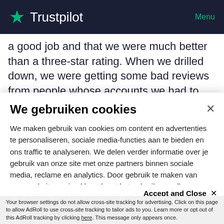★ Trustpilot   Menu
a good job and that we were much better than a three-star rating. When we drilled down, we were getting some bad reviews from people whose accounts we had to freeze. We're a licensed bank and so we have to apply the law.
We gebruiken cookies
We maken gebruik van cookies om content en advertenties te personaliseren, sociale media-functies aan te bieden en ons traffic te analyseren. We delen verder informatie over je gebruik van onze site met onze partners binnen sociale media, reclame en analytics. Door gebruik te maken van onze website, ga je akkoord met het gebruik van alle cookies. Je kunt je cookievoorkeuren altijd bekijken en aanpassen in de voettekst van deze website.
Accept and Close ✕
Your browser settings do not allow cross-site tracking for advertising. Click on this page to allow AdRoll to use cross-site tracking to tailor ads to you. Learn more or opt out of this AdRoll tracking by clicking here. This message only appears once.